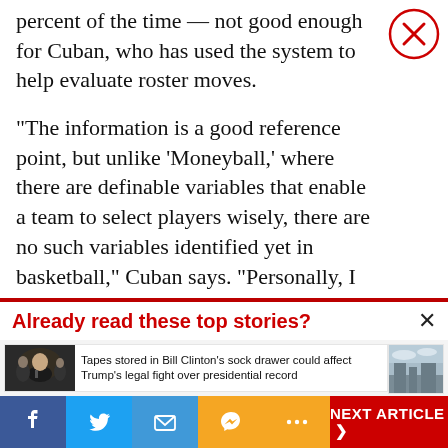percent of the time — not good enough for Cuban, who has used the system to help evaluate roster moves.
“The information is a good reference point, but unlike ‘Moneyball,’ where there are definable variables that enable a team to select players wisely, there are no such variables identified yet in basketball,” Cuban says. “Personally, I think it’s because we don’t collect the right data.”
Already read these top stories?
Tapes stored in Bill Clinton’s sock drawer could affect Trump’s legal fight over presidential record
[Figure (photo): Photo of Bill Clinton at a public event]